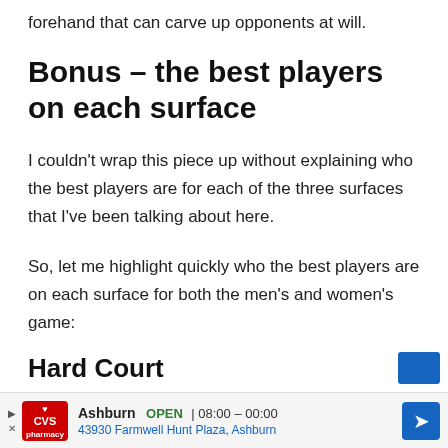forehand that can carve up opponents at will.
Bonus – the best players on each surface
I couldn't wrap this piece up without explaining who the best players are for each of the three surfaces that I've been talking about here.
So, let me highlight quickly who the best players are on each surface for both the men's and women's game:
Hard Court
Ashburn OPEN | 08:00 – 00:00 43930 Farmwell Hunt Plaza, Ashburn